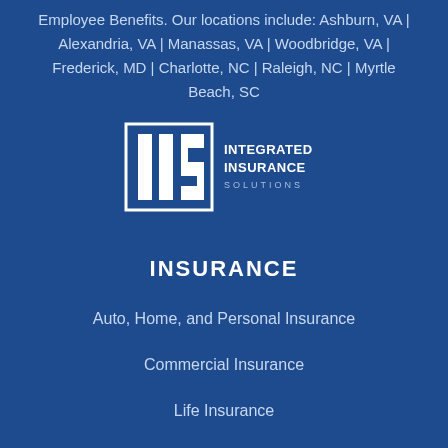Employee Benefits. Our locations include: Ashburn, VA | Alexandria, VA | Manassas, VA | Woodbridge, VA | Frederick, MD | Charlotte, NC | Raleigh, NC | Myrtle Beach, SC
[Figure (logo): IIS Integrated Insurance Solutions logo — white square border with stylized 'IIS' letters and company name text]
INSURANCE
Auto, Home, and Personal Insurance
Commercial Insurance
Life Insurance